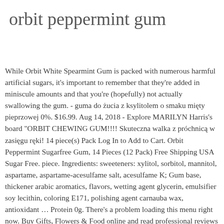orbit peppermint gum
While Orbit White Spearmint Gum is packed with numerous harmful artificial sugars, it's important to remember that they're added in miniscule amounts and that you're (hopefully) not actually swallowing the gum. - guma do żucia z ksylitolem o smaku mięty pieprzowej 0%. $16.99. Aug 14, 2018 - Explore MARILYN Harris's board "ORBIT CHEWING GUM!!!! Skuteczna walka z próchnicą w zasięgu ręki! 14 piece(s) Pack Log In to Add to Cart. Orbit Peppermint Sugarfree Gum, 14 Pieces (12 Pack) Free Shipping USA Sugar Free. piece. Ingredients: sweeteners: xylitol, sorbitol, mannitol, aspartame, aspartame-acesulfame salt, acesulfame K; Gum base, thickener arabic aromatics, flavors, wetting agent glycerin, emulsifier soy lecithin, coloring E171, polishing agent carnauba wax, antioxidant … Protein 0g. There's a problem loading this menu right now. Buy Gifts, Flowers & Food online and read professional reviews on Orbit peppermint gum, Sugar Free Candy. Klasyczny smak mięty w walce o zdrowe i czyste zęby! Make the most of the moment with the clean and fresh feeling of refreshing Orbit White Gum. Dla małych i dużych! $800 Minimum for pickup. Orbit is a brand of sugarless chewing gum from the Wrigley Company.In the United States, where it was relaunched in 2001, it is sold in cardboard boxes with 14 individually wrapped